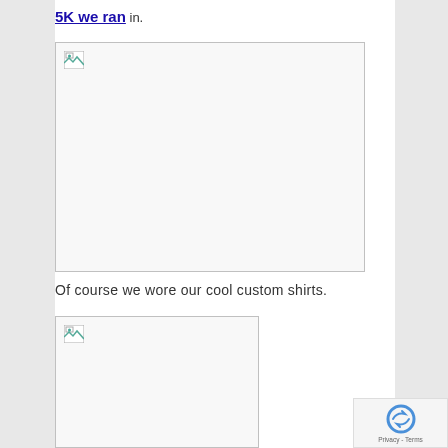5K we ran in.
[Figure (photo): Large broken/unloaded image placeholder with broken image icon in top-left corner]
Of course we wore our cool custom shirts.
[Figure (photo): Smaller broken/unloaded image placeholder with broken image icon in top-left corner]